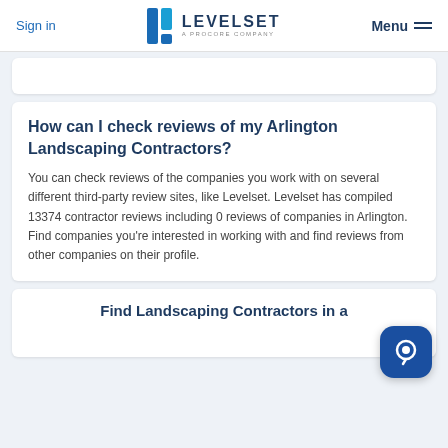Sign in | LEVELSET A PROCORE COMPANY | Menu
How can I check reviews of my Arlington Landscaping Contractors?
You can check reviews of the companies you work with on several different third-party review sites, like Levelset. Levelset has compiled 13374 contractor reviews including 0 reviews of companies in Arlington. Find companies you're interested in working with and find reviews from other companies on their profile.
Find Landscaping Contractors in a